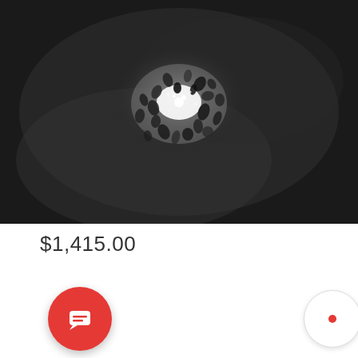[Figure (photo): Black and white photograph of a crystal chandelier or decorative light fixture viewed from below, with glittering crystal droplets and a bright central light source against a dark ceiling background]
$1,415.00
[Figure (infographic): Two UI buttons: a red circular chat/message button on the left, and a white circular radio button with a red dot indicator on the right]